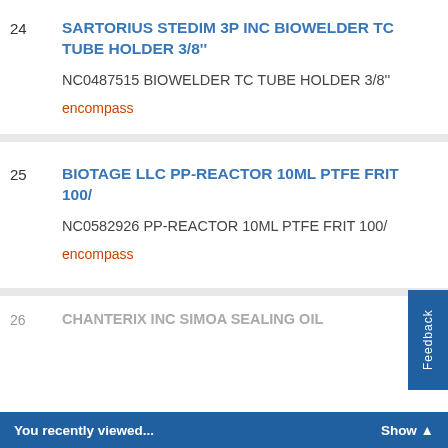24 SARTORIUS STEDIM 3P INC BIOWELDER TC TUBE HOLDER 3/8'' NC0487515 BIOWELDER TC TUBE HOLDER 3/8'' encompass
25 BIOTAGE LLC PP-REACTOR 10ML PTFE FRIT 100/ NC0582926 PP-REACTOR 10ML PTFE FRIT 100/ encompass
26 CHANTERIX INC SIMOA SEALING OIL
You recently viewed...
Show